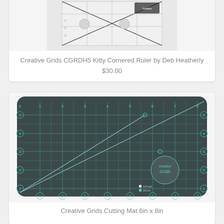[Figure (photo): Creative Grids CGRDH5 Kitty Cornered Ruler product image - a quilting ruler with diagonal lines and measurement markings]
Creative Grids CGRDH5 Kitty Cornered Ruler by Deb Heatherly
$30.00
[Figure (photo): Creative Grids cutting mat 6in x 8in - dark grey/teal grid mat with measurement lines and Creative Grids logo]
Creative Grids Cutting Mat 6in x 8in